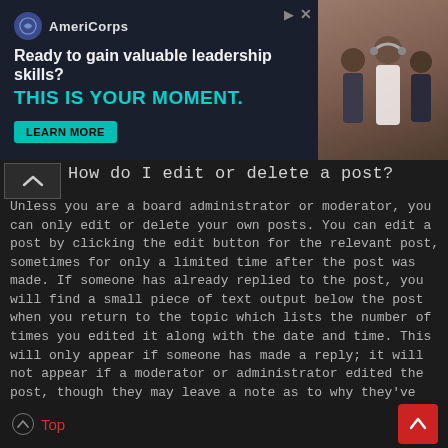[Figure (infographic): AmeriCorps advertisement banner. Logo with circular icon. Headline: 'Ready to gain valuable leadership skills?' Subheadline: 'THIS IS YOUR MOMENT.' with a 'LEARN MORE' button. Photo of people on the right side.]
How do I edit or delete a post?
Unless you are a board administrator or moderator, you can only edit or delete your own posts. You can edit a post by clicking the edit button for the relevant post, sometimes for only a limited time after the post was made. If someone has already replied to the post, you will find a small piece of text output below the post when you return to the topic which lists the number of times you edited it along with the date and time. This will only appear if someone has made a reply; it will not appear if a moderator or administrator edited the post, though they may leave a note as to why they've edited the post at their own discretion. Please note that normal users cannot delete a post once someone has replied.
Top